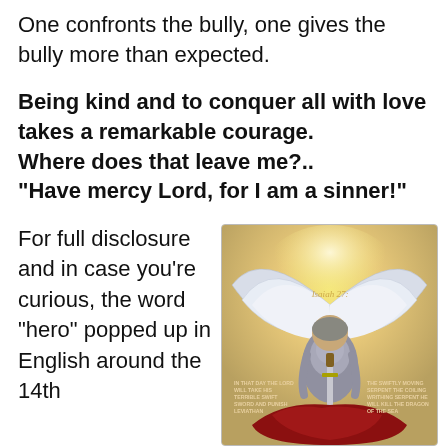One confronts the bully, one gives the bully more than expected.
Being kind and to conquer all with love takes a remarkable courage.
Where does that leave me?..
“Have mercy Lord, for I am a sinner!”
For full disclosure and in case you’re curious, the word “hero” popped up in English around the 14th
[Figure (illustration): An illustration of a winged angel warrior kneeling and holding a sword, with text referencing Isaiah 27. Text on the left reads: IN THAT DAY THE LORD WILL TAKE HIS TERRIBLE SWIFT SWORD AND PUNISH LEVIATHAN. Text on the right reads: THE SWIFTLY MOVING SERPENT THE COILING WRITHING SERPENT HE WILL KILL THE DRAGON OF THE SEA.]